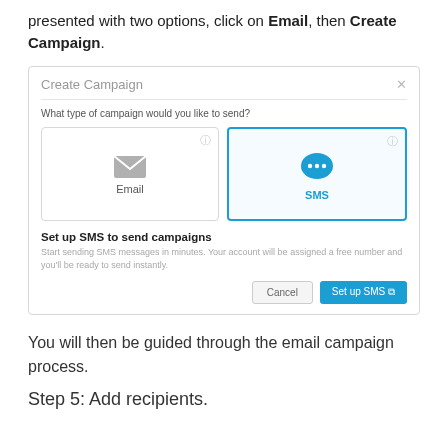presented with two options, click on Email, then Create Campaign.
[Figure (screenshot): Create Campaign dialog box showing Email and SMS options. SMS option is selected (highlighted in blue border). Below shows 'Set up SMS to send campaigns' section with Cancel and Set up SMS buttons.]
You will then be guided through the email campaign process.
Step 5: Add recipients.